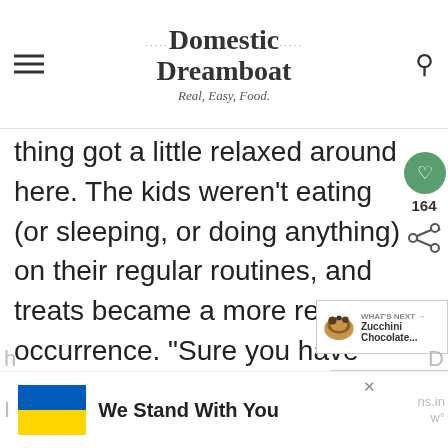Domestic Dreamboat — Real, Easy, Food.
thing got a little relaxed around here. The kids weren't eating (or sleeping, or doing anything) on their regular routines, and treats became a more regular occurrence. "Sure you have another popsicle, because summer!" The treats also started sneak in at breakfast time.
[Figure (other): Ad banner with Ukraine flag and text 'We Stand With You']